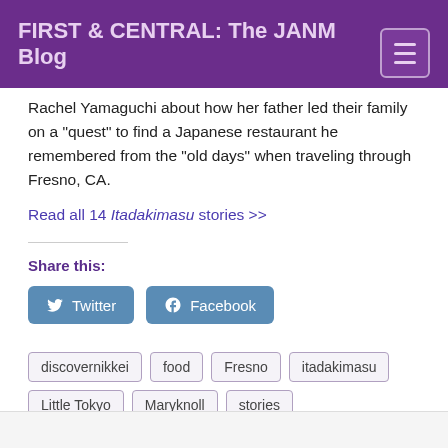FIRST & CENTRAL: The JANM Blog
Rachel Yamaguchi about how her father led their family on a "quest" to find a Japanese restaurant he remembered from the "old days" when traveling through Fresno, CA.
Read all 14 Itadakimasu stories >>
Share this:
Twitter
Facebook
discovernikkei
food
Fresno
itadakimasu
Little Tokyo
Maryknoll
stories